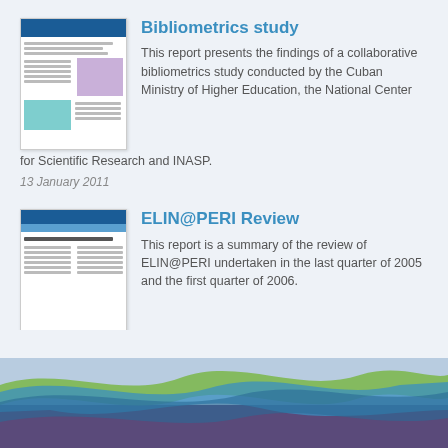Bibliometrics study
This report presents the findings of a collaborative bibliometrics study conducted by the Cuban Ministry of Higher Education, the National Center for Scientific Research and INASP.
13 January 2011
ELIN@PERI Review
This report is a summary of the review of ELIN@PERI undertaken in the last quarter of 2005 and the first quarter of 2006.
5 July 2007